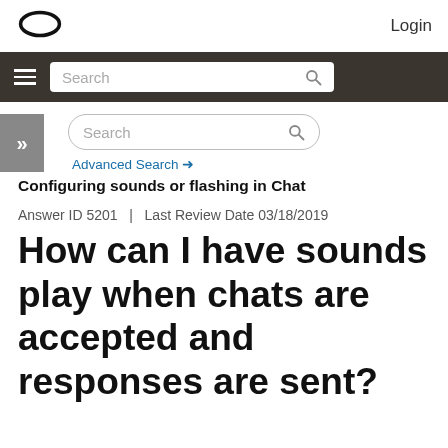Login
[Figure (logo): Oracle oval logo (black outline oval shape)]
Search (navigation bar)
Search (secondary search box)
Advanced Search →
Configuring sounds or flashing in Chat
Answer ID 5201  |  Last Review Date 03/18/2019
How can I have sounds play when chats are accepted and responses are sent?